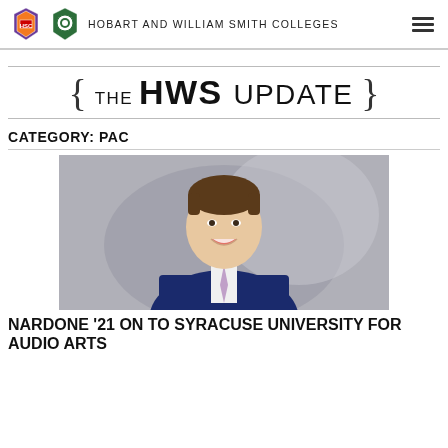HOBART AND WILLIAM SMITH COLLEGES
THE HWS UPDATE
CATEGORY: PAC
[Figure (photo): Headshot of a young man in a navy blue suit and lavender tie, smiling, against a gray background]
NARDONE '21 ON TO SYRACUSE UNIVERSITY FOR AUDIO ARTS